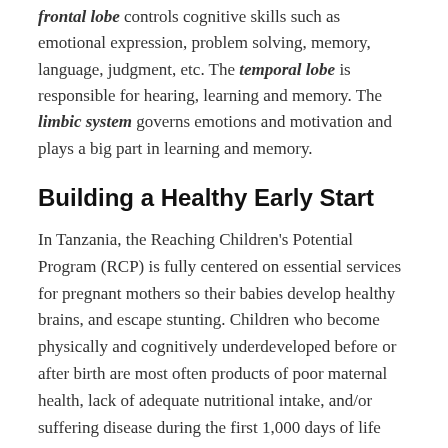frontal lobe controls cognitive skills such as emotional expression, problem solving, memory, language, judgment, etc. The temporal lobe is responsible for hearing, learning and memory. The limbic system governs emotions and motivation and plays a big part in learning and memory.
Building a Healthy Early Start
In Tanzania, the Reaching Children's Potential Program (RCP) is fully centered on essential services for pregnant mothers so their babies develop healthy brains, and escape stunting. Children who become physically and cognitively underdeveloped before or after birth are most often products of poor maternal health, lack of adequate nutritional intake, and/or suffering disease during the first 1,000 days of life (including time in utero). Many experts believe the effects of stunting are irreversible after children reach